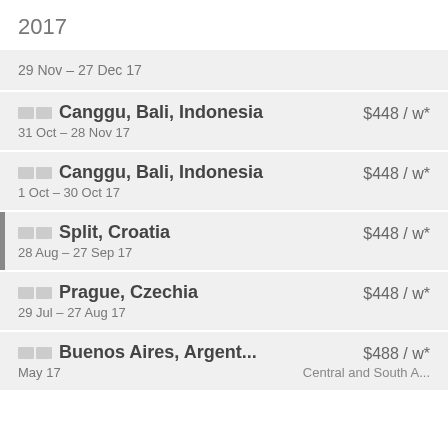2017
29 Nov – 27 Dec 17
🏳 🏳 Canggu, Bali, Indonesia   $448 / w*   31 Oct – 28 Nov 17
🏳 🏳 Canggu, Bali, Indonesia   $448 / w*   1 Oct – 30 Oct 17
🏳 🏳 Split, Croatia   $448 / w*   28 Aug – 27 Sep 17
🏳 🏳 Prague, Czechia   $448 / w*   29 Jul – 27 Aug 17
🏳 🏳 Buenos Aires, Argent...   $488 / w*   May 17   Central and South A...